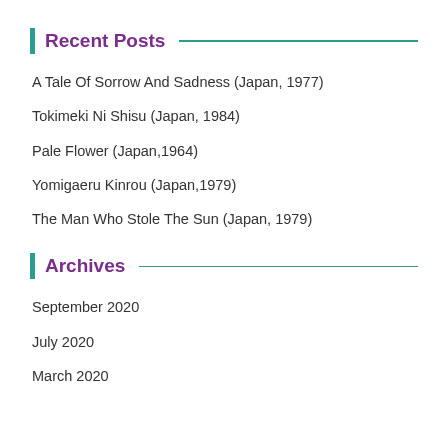Recent Posts
A Tale Of Sorrow And Sadness (Japan, 1977)
Tokimeki Ni Shisu (Japan, 1984)
Pale Flower (Japan,1964)
Yomigaeru Kinrou (Japan,1979)
The Man Who Stole The Sun (Japan, 1979)
Archives
September 2020
July 2020
March 2020